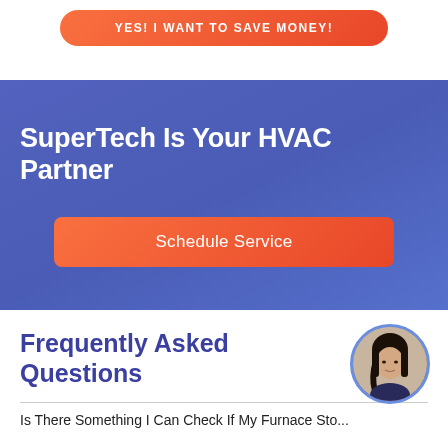[Figure (screenshot): Orange rounded button with white uppercase text 'YES! I WANT TO SAVE MONEY!' at top of page]
SuperTech Is Your HVAC Partner
[Figure (screenshot): Orange rounded rectangle button labeled 'Schedule Service']
Frequently Asked Questions
[Figure (photo): Circular avatar photo of a person with dark hair, framed with a blue circle border]
Is There Something I Can Check If My Furnace Sto...